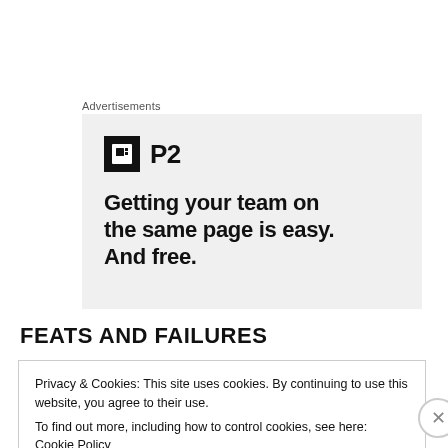Advertisements
[Figure (other): Advertisement for P2 — logo with stylized icon and text 'P2', tagline: 'Getting your team on the same page is easy. And free.']
FEATS AND FAILURES
Privacy & Cookies: This site uses cookies. By continuing to use this website, you agree to their use.
To find out more, including how to control cookies, see here: Cookie Policy
Close and accept